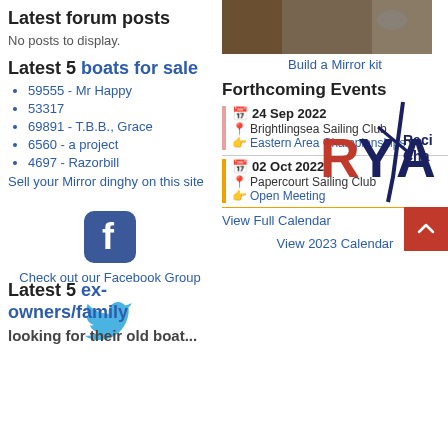Latest forum posts
No posts to display.
Latest 5 boats for sale
59555 - Mr Happy
53317
69891 - T.B.B., Grace
6560 - a project
4697 - Razorbill
Sell your Mirror dinghy on this site
[Figure (photo): Photo of boat building / Mirror kit]
Build a Mirror kit
Forthcoming Events
24 Sep 2022
Brightlingsea Sailing Club
Eastern Area Championships
02 Oct 2022
Papercourt Sailing Club
Open Meeting
View Full Calendar
View 2023 Calendar
[Figure (logo): Facebook logo icon]
Check out our Facebook Group
[Figure (logo): Twitter bird logo icon]
[Figure (logo): RYA Racing Charter logo]
Latest 5 ex-owners/family looking for their old boat...